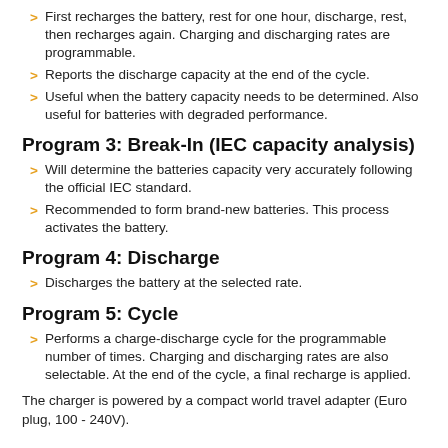First recharges the battery, rest for one hour, discharge, rest, then recharges again. Charging and discharging rates are programmable.
Reports the discharge capacity at the end of the cycle.
Useful when the battery capacity needs to be determined. Also useful for batteries with degraded performance.
Program 3: Break-In (IEC capacity analysis)
Will determine the batteries capacity very accurately following the official IEC standard.
Recommended to form brand-new batteries. This process activates the battery.
Program 4: Discharge
Discharges the battery at the selected rate.
Program 5: Cycle
Performs a charge-discharge cycle for the programmable number of times. Charging and discharging rates are also selectable. At the end of the cycle, a final recharge is applied.
The charger is powered by a compact world travel adapter (Euro plug, 100 - 240V).